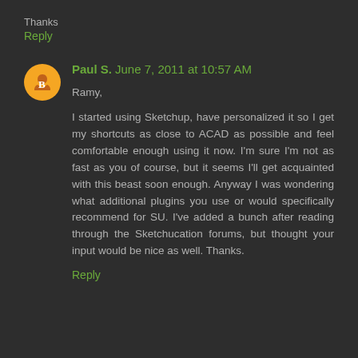Thanks
Reply
Paul S.  June 7, 2011 at 10:57 AM
Ramy,

I started using Sketchup, have personalized it so I get my shortcuts as close to ACAD as possible and feel comfortable enough using it now. I'm sure I'm not as fast as you of course, but it seems I'll get acquainted with this beast soon enough. Anyway I was wondering what additional plugins you use or would specifically recommend for SU. I've added a bunch after reading through the Sketchucation forums, but thought your input would be nice as well. Thanks.
Reply